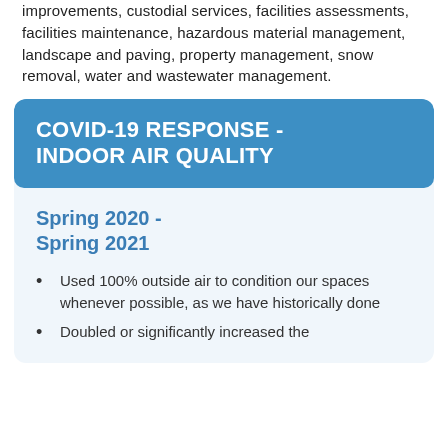improvements, custodial services, facilities assessments, facilities maintenance, hazardous material management, landscape and paving, property management, snow removal, water and wastewater management.
COVID-19 RESPONSE - INDOOR AIR QUALITY
Spring 2020 - Spring 2021
Used 100% outside air to condition our spaces whenever possible, as we have historically done
Doubled or significantly increased the